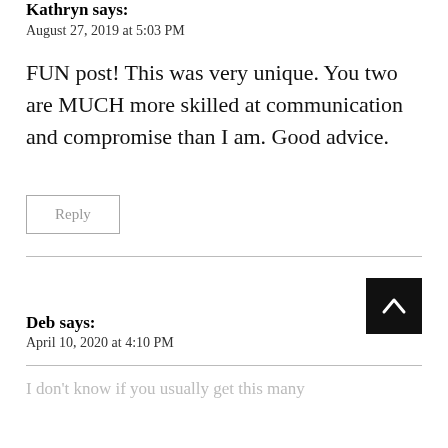Kathryn says:
August 27, 2019 at 5:03 PM
FUN post! This was very unique. You two are MUCH more skilled at communication and compromise than I am. Good advice.
Reply
Deb says:
April 10, 2020 at 4:10 PM
I don't know if you usually get this many